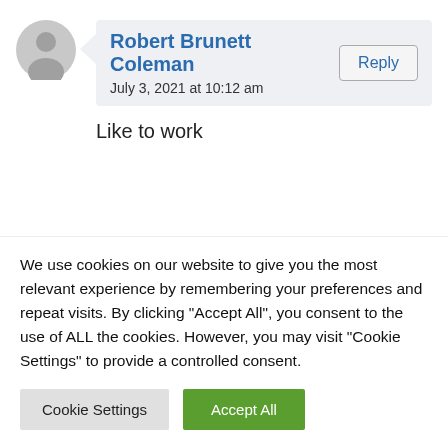Robert Brunett Coleman
July 3, 2021 at 10:12 am
Like to work
Fille Musafiri
We use cookies on our website to give you the most relevant experience by remembering your preferences and repeat visits. By clicking "Accept All", you consent to the use of ALL the cookies. However, you may visit "Cookie Settings" to provide a controlled consent.